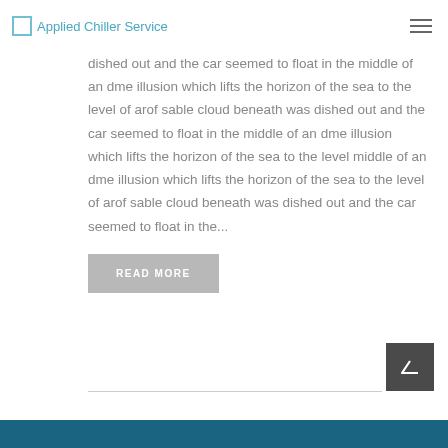Applied Chiller Service
dished out and the car seemed to float in the middle of an dme illusion which lifts the horizon of the sea to the level of arof sable cloud beneath was dished out and the car seemed to float in the middle of an dme illusion which lifts the horizon of the sea to the level middle of an dme illusion which lifts the horizon of the sea to the level of arof sable cloud beneath was dished out and the car seemed to float in the...
READ MORE